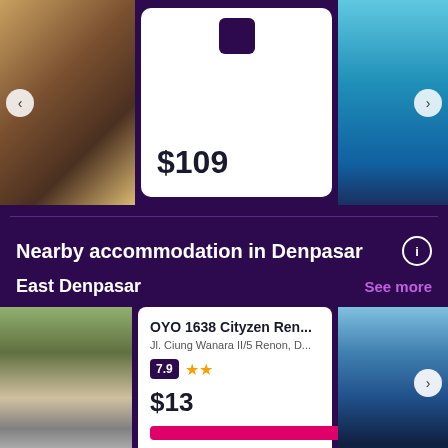[Figure (photo): Hotel room interior photo on left side of carousel]
$109
[Figure (photo): Swimming pool photo on right side of carousel]
Nearby accommodation in Denpasar
East Denpasar
See more
[Figure (photo): OYO 1638 Cityzen Renon hotel exterior photo]
OYO 1638 Cityzen Ren...
Jl. Ciung Wanara II/5 Renon, D...
7.9
$13
[Figure (photo): Villa with pool photo on right side]